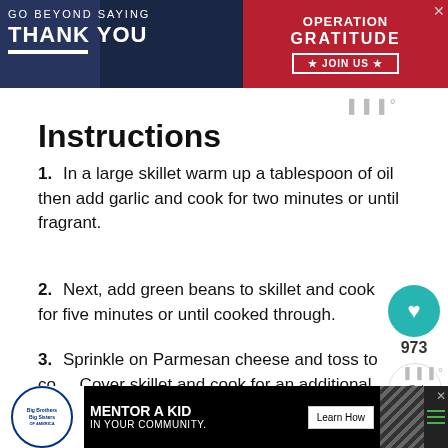[Figure (other): Advertisement banner: 'GO BEYOND SAYING THANK YOU' with Operation Gratitude logo and JOIN US button, military-themed]
Instructions
In a large skillet warm up a tablespoon of oil then add garlic and cook for two minutes or until fragrant.
Next, add green beans to skillet and cook for five minutes or until cooked through.
Sprinkle on Parmesan cheese and toss to coat. Cover skillet and cook for an additional five minutes stirring half way through to prevent burning.
Garnish with more cheese if desired
[Figure (other): Advertisement banner at bottom: Big Brothers Big Sisters 'MENTOR A KID IN YOUR COMMUNITY' with Learn How button]